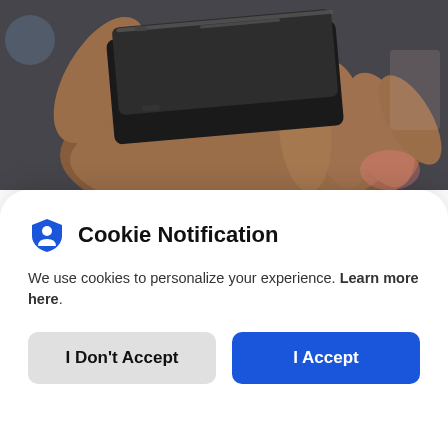[Figure (photo): A hand holding two stacked smartphones, showing their edges with ports visible, photographed from the side against a blurred background.]
The idea of wireless charging has been around for some time. With painful sluggishness, the
Cookie Notification
We use cookies to personalize your experience. Learn more here.
I Don't Accept | I Accept